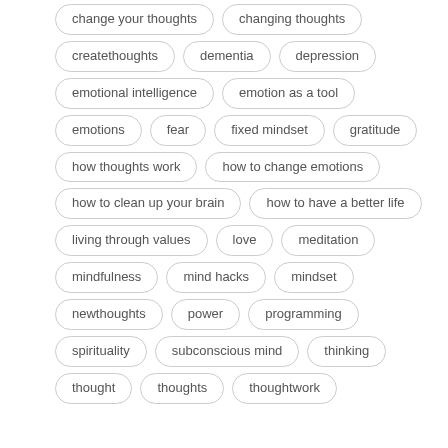change your thoughts
changing thoughts
createthoughts
dementia
depression
emotional intelligence
emotion as a tool
emotions
fear
fixed mindset
gratitude
how thoughts work
how to change emotions
how to clean up your brain
how to have a better life
living through values
love
meditation
mindfulness
mind hacks
mindset
newthoughts
power
programming
spirituality
subconscious mind
thinking
thought
thoughts
thoughtwork